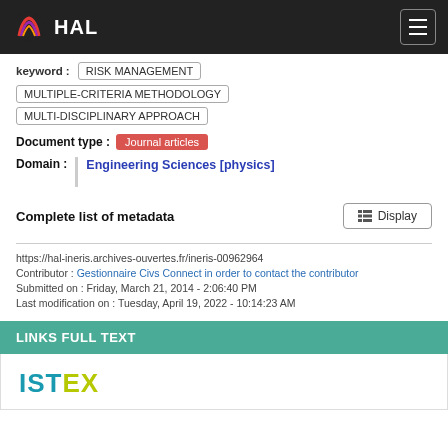HAL
keyword : RISK MANAGEMENT
MULTIPLE-CRITERIA METHODOLOGY
MULTI-DISCIPLINARY APPROACH
Document type : Journal articles
Domain : Engineering Sciences [physics]
Complete list of metadata  Display
https://hal-ineris.archives-ouvertes.fr/ineris-00962964
Contributor : Gestionnaire Civs Connect in order to contact the contributor
Submitted on : Friday, March 21, 2014 - 2:06:40 PM
Last modification on : Tuesday, April 19, 2022 - 10:14:23 AM
LINKS FULL TEXT
[Figure (logo): ISTEX logo]